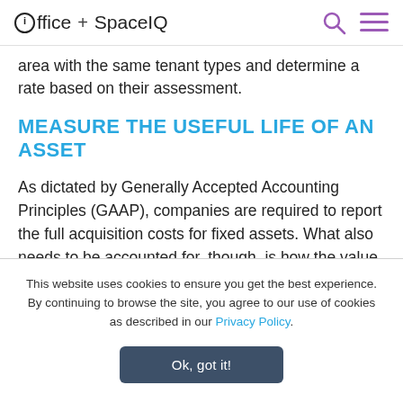ioffice + SpaceIQ
area with the same tenant types and determine a rate based on their assessment.
MEASURE THE USEFUL LIFE OF AN ASSET
As dictated by Generally Accepted Accounting Principles (GAAP), companies are required to report the full acquisition costs for fixed assets. What also needs to be accounted for, though, is how the value of
This website uses cookies to ensure you get the best experience. By continuing to browse the site, you agree to our use of cookies as described in our Privacy Policy.
Ok, got it!